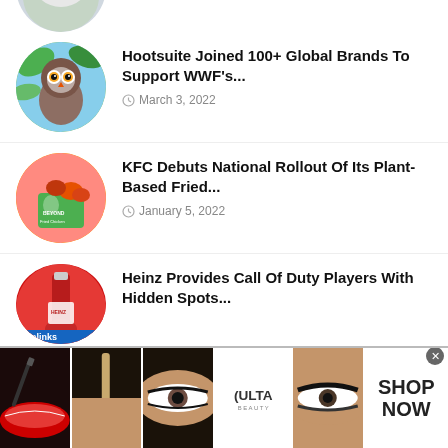[Figure (photo): Partial circular thumbnail at top, cropped owl image partially visible]
Hootsuite Joined 100+ Global Brands To Support WWF's... March 3, 2022
KFC Debuts National Rollout Of Its Plant-Based Fried... January 5, 2022
Heinz Provides Call Of Duty Players With Hidden Spots...
[Figure (photo): Advertisement banner by infolinks featuring Ulta Beauty makeup imagery with SHOP NOW call to action]